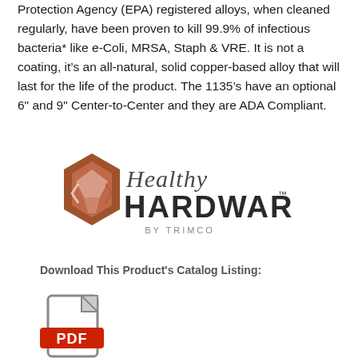Protection Agency (EPA) registered alloys, when cleaned regularly, have been proven to kill 99.9% of infectious bacteria* like e-Coli, MRSA, Staph & VRE. It is not a coating, it's an all-natural, solid copper-based alloy that will last for the life of the product. The 1135's have an optional 6" and 9" Center-to-Center and they are ADA Compliant.
[Figure (logo): Healthy Hardware by Trimco logo — a copper-toned geometric faceted gem shape on the left, and script 'Healthy' above bold sans-serif 'HARDWARE' with trademark symbol, and 'BY TRIMCO' below in small caps.]
Download This Product's Catalog Listing:
[Figure (illustration): PDF file icon — a document outline with a red banner labeled 'PDF' in white bold text.]